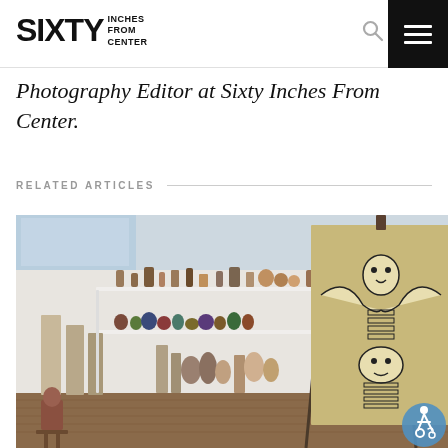SIXTY INCHES FROM CENTER
Photography Editor at Sixty Inches From Center.
RELATED ARTICLES
[Figure (photo): Interior gallery space showing white shelves with ceramic sculptures, figurines, and art objects, alongside a large figurative painting on an easel in the foreground right. The space has white walls and a wooden floor.]